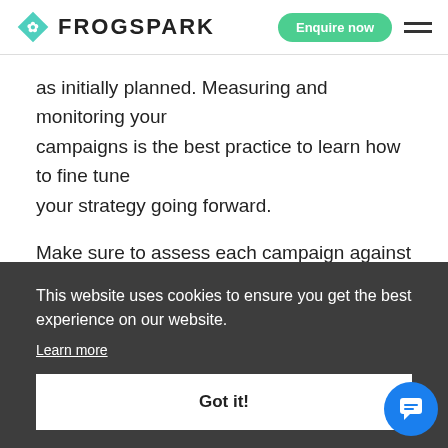FROGSPARK
as initially planned. Measuring and monitoring your campaigns is the best practice to learn how to fine tune your strategy going forward.
Make sure to assess each campaign against its brief,
This website uses cookies to ensure you get the best experience on our website.
Learn more
Got it!